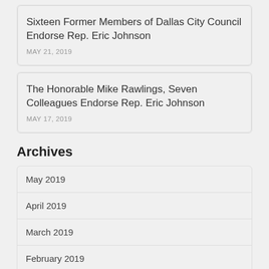Sixteen Former Members of Dallas City Council Endorse Rep. Eric Johnson
MAY 21, 2019
The Honorable Mike Rawlings, Seven Colleagues Endorse Rep. Eric Johnson
MAY 17, 2019
Archives
May 2019
April 2019
March 2019
February 2019
January 2019